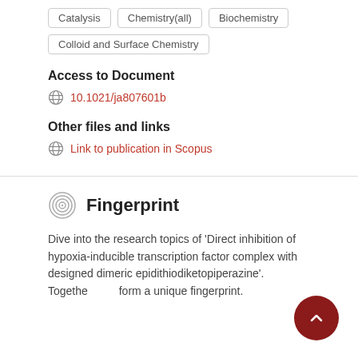Catalysis
Chemistry(all)
Biochemistry
Colloid and Surface Chemistry
Access to Document
10.1021/ja807601b
Other files and links
Link to publication in Scopus
Fingerprint
Dive into the research topics of 'Direct inhibition of hypoxia-inducible transcription factor complex with designed dimeric epidithiodiketopiperazine'. Together they form a unique fingerprint.